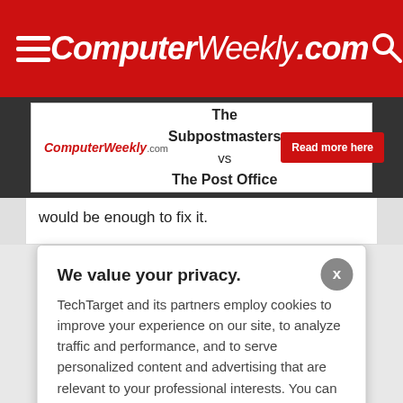ComputerWeekly.com
[Figure (screenshot): Advertisement banner: The Subpostmasters vs The Post Office with ComputerWeekly.com logo and Read more here button]
would be enough to fix it.
We value your privacy.
TechTarget and its partners employ cookies to improve your experience on our site, to analyze traffic and performance, and to serve personalized content and advertising that are relevant to your professional interests. You can manage your settings at any time. Please view our Privacy Policy for more information